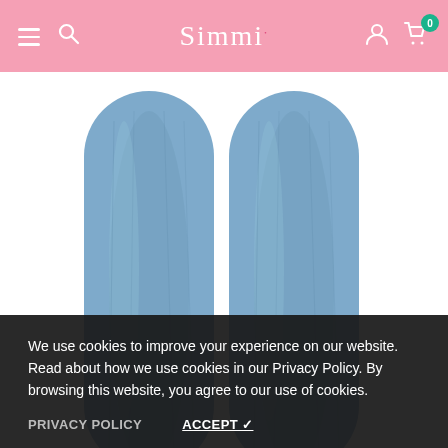Simmi
[Figure (photo): Close-up of the lower legs and hems of a pair of light blue straight-leg denim jeans, shown from approximately knee-down against a white background. Two trouser legs visible side by side.]
[Figure (photo): Small thumbnail image of light blue jeans (full length, front view)]
[Figure (photo): Small thumbnail image of mid-wash blue jeans (full length, front view with waistband visible)]
Numph Nustormy Straight Leg Jeans
Product Type
We use cookies to improve your experience on our website. Read about how we use cookies in our Privacy Policy. By browsing this website, you agree to our use of cookies.
PRIVACY POLICY
ACCEPT ✔